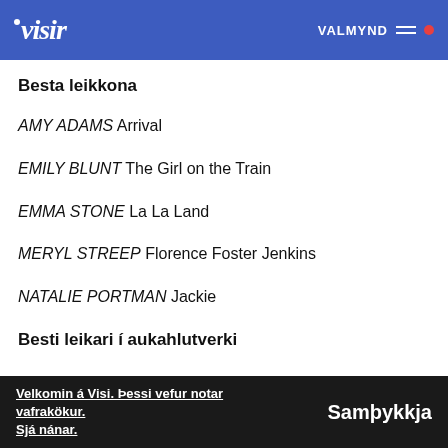visir  VALMYND
Besta leikkona
AMY ADAMS Arrival
EMILY BLUNT The Girl on the Train
EMMA STONE La La Land
MERYL STREEP Florence Foster Jenkins
NATALIE PORTMAN Jackie
Besti leikari í aukahlutverki
Velkomin á Visi. Þessi vefur notar vafrakökur. Sjá nánar.  Samþykkja